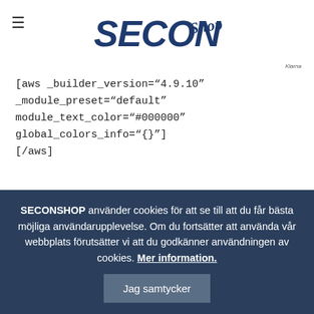SECON Shop logo and hamburger menu
[aws _builder_version="4.9.10" _module_preset="default" module_text_color="#000000" global_colors_info="{}"] [/aws]
Inga resultat hittades
SECONSHOP använder cookies för att se till att du får bästa möjliga användarupplevelse. Om du fortsätter att använda vår webbplats förutsätter vi att du godkänner användningen av cookies. Mer information. Jag samtycker